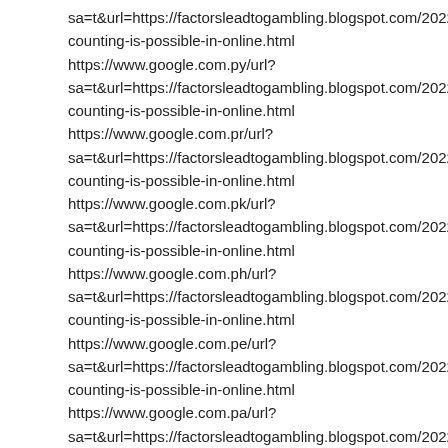sa=t&url=https://factorsleadtogambling.blogspot.com/2022/08/card-counting-is-possible-in-online.html
https://www.google.com.py/url?
sa=t&url=https://factorsleadtogambling.blogspot.com/2022/08/card-counting-is-possible-in-online.html
https://www.google.com.pr/url?
sa=t&url=https://factorsleadtogambling.blogspot.com/2022/08/card-counting-is-possible-in-online.html
https://www.google.com.pk/url?
sa=t&url=https://factorsleadtogambling.blogspot.com/2022/08/card-counting-is-possible-in-online.html
https://www.google.com.ph/url?
sa=t&url=https://factorsleadtogambling.blogspot.com/2022/08/card-counting-is-possible-in-online.html
https://www.google.com.pe/url?
sa=t&url=https://factorsleadtogambling.blogspot.com/2022/08/card-counting-is-possible-in-online.html
https://www.google.com.pa/url?
sa=t&url=https://factorsleadtogambling.blogspot.com/2022/08/card-counting-is-possible-in-online.html